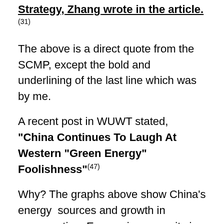Strategy, Zhang wrote in the article.
The above is a direct quote from the SCMP, except the bold and underlining of the last line which was by me.
A recent post in WUWT stated, “China Continues To Laugh At Western “Green Energy” Foolishness”(47)
Why? The graphs above show China’s energy sources and growth in consumption. Economic prosperity is powered by Energy and China has used a lot of energy to become the world’s largest manufacturer.